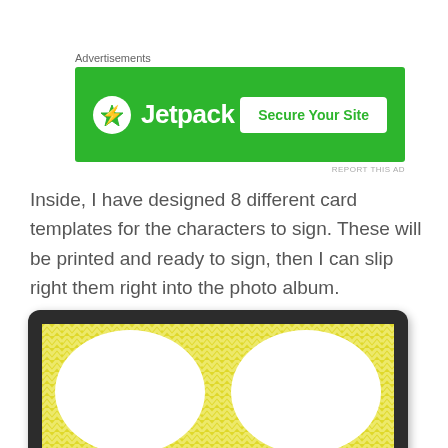[Figure (screenshot): Jetpack advertisement banner with green background showing Jetpack logo (lightning bolt icon) and 'Secure Your Site' button]
Inside, I have designed 8 different card templates for the characters to sign.  These will be printed and ready to sign, then I can slip right them right into the photo album.
[Figure (photo): Tablet device displaying a card template with yellow chevron/zigzag pattern background and two white speech bubble shapes]